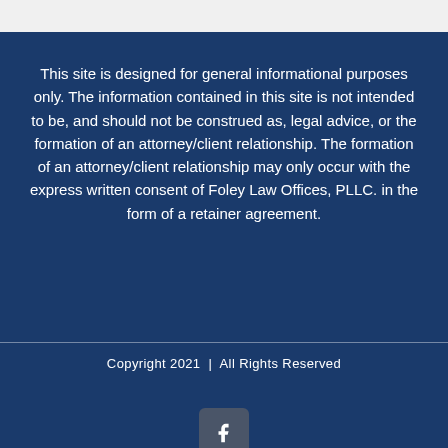This site is designed for general informational purposes only. The information contained in this site is not intended to be, and should not be construed as, legal advice, or the formation of an attorney/client relationship. The formation of an attorney/client relationship may only occur with the express written consent of Foley Law Offices, PLLC. in the form of a retainer agreement.
Copyright 2021 | All Rights Reserved
[Figure (logo): Facebook icon button - rounded square with white 'f' letter]